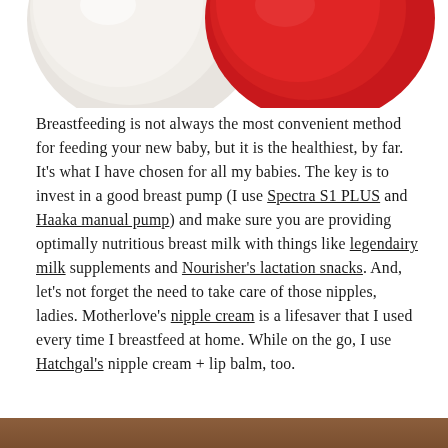[Figure (photo): Partial view of white and red round objects (likely nursing pads or breast pump accessories) against a white background, cropped at the top of the page.]
Breastfeeding is not always the most convenient method for feeding your new baby, but it is the healthiest, by far. It's what I have chosen for all my babies. The key is to invest in a good breast pump (I use Spectra S1 PLUS and Haaka manual pump) and make sure you are providing optimally nutritious breast milk with things like legendairy milk supplements and Nourisher's lactation snacks. And, let's not forget the need to take care of those nipples, ladies. Motherlove's nipple cream is a lifesaver that I used every time I breastfeed at home. While on the go, I use Hatchgal's nipple cream + lip balm, too.
[Figure (photo): Bottom edge of a photo, brownish/warm tones, partially visible at the bottom of the page.]